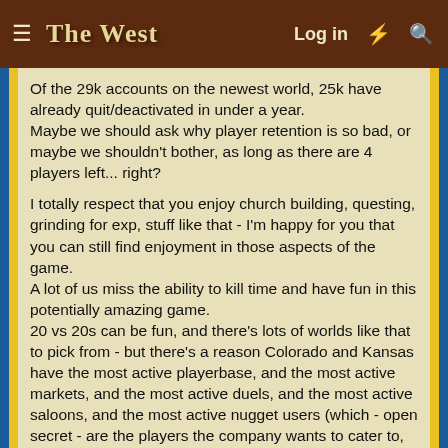The West — Log in
Of the 29k accounts on the newest world, 25k have already quit/deactivated in under a year.
Maybe we should ask why player retention is so bad, or maybe we shouldn't bother, as long as there are 4 players left... right?

I totally respect that you enjoy church building, questing, grinding for exp, stuff like that - I'm happy for you that you can still find enjoyment in those aspects of the game.
A lot of us miss the ability to kill time and have fun in this potentially amazing game.
20 vs 20s can be fun, and there's lots of worlds like that to pick from - but there's a reason Colorado and Kansas have the most active playerbase, and the most active markets, and the most active duels, and the most active saloons, and the most active nugget users (which - open secret - are the players the company wants to cater to, because that's how the freemium business model works).
Bigger is Better.
Last edited: Sep 6, 2021
Victor Kruger, Thanatoss, Prilewi Heri and 5 others